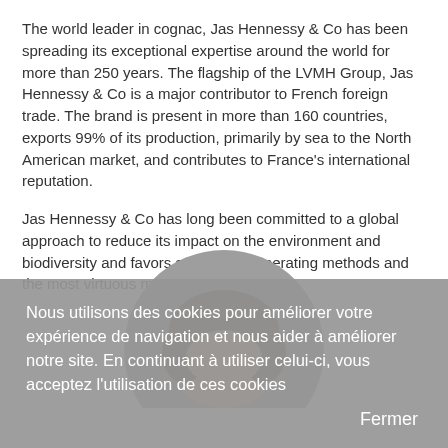The world leader in cognac, Jas Hennessy & Co has been spreading its exceptional expertise around the world for more than 250 years. The flagship of the LVMH Group, Jas Hennessy & Co is a major contributor to French foreign trade. The brand is present in more than 160 countries, exports 99% of its production, primarily by sea to the North American market, and contributes to France's international reputation.
Jas Hennessy & Co has long been committed to a global approach to reduce its impact on the environment and biodiversity and favors sustainable operating methods and the most virtuous modes of transportation.
[Figure (photo): Circular cropped portrait photo of a man with dark brown hair, showing the top of his head and forehead, set against a grey circular background.]
Nous utilisons des cookies pour améliorer votre expérience de navigation et nous aider à améliorer notre site. En continuant à utiliser celui-ci, vous acceptez l'utilisation de ces cookies
Fermer